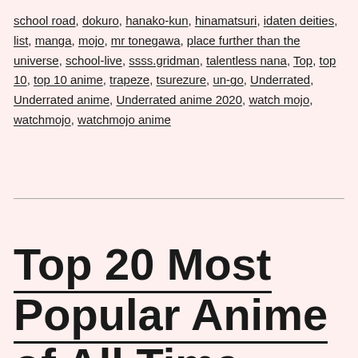school road, dokuro, hanako-kun, hinamatsuri, idaten deities, list, manga, mojo, mr tonegawa, place further than the universe, school-live, ssss.gridman, talentless nana, Top, top 10, top 10 anime, trapeze, tsurezure, un-go, Underrated, Underrated anime, Underrated anime 2020, watch mojo, watchmojo, watchmojo anime
Top 20 Most Popular Anime of All Time